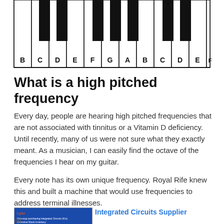[Figure (illustration): Piano keyboard diagram showing white and black keys labeled B, C, D, E, F, G, A, B, C, D, E, F from left to right]
What is a high pitched frequency
Every day, people are hearing high pitched frequencies that are not associated with tinnitus or a Vitamin D deficiency. Until recently, many of us were not sure what they exactly meant. As a musician, I can easily find the octave of the frequencies I hear on my guitar.
Every note has its own unique frequency. Royal Rife knew this and built a machine that would use frequencies to address terminal illnesses.
[Figure (photo): Advertisement image showing an integrated circuit chip on a blue circuit board background with text about Lynx one-stop purchasing of Integrated Circuits]
Integrated Circuits Supplier
Ad